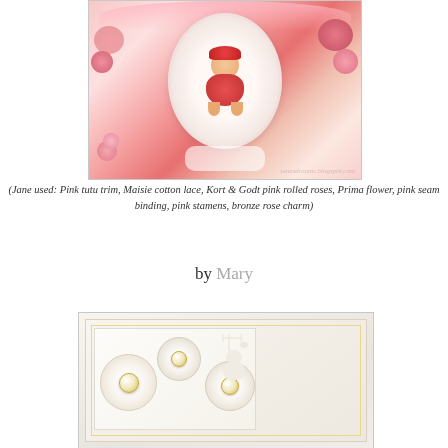[Figure (photo): A decorative handmade craft card featuring a cartoon character in a red outfit inside an oval frame, surrounded by pink flowers, feathers, pink roses, lace, and ribbon embellishments on a pink background.]
(Jane used: Pink tutu trim, Maisie cotton lace, Kort & Godt pink rolled roses, Prima flower, pink seam binding, pink stamens, bronze rose charm)
by Mary
[Figure (photo): A handmade craft card with white and cream lace flowers with pearl centers, a white reindeer or deer die-cut, on a cream/beige background with yellow border.]